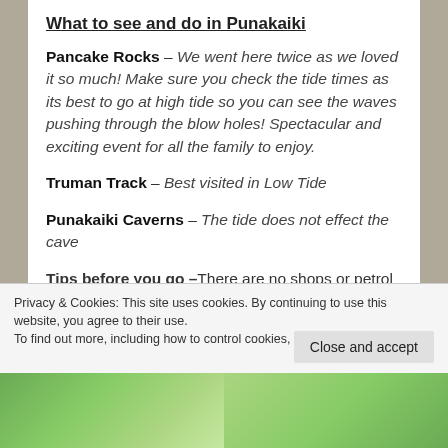What to see and do in Punakaiki
Pancake Rocks – We went here twice as we loved it so much! Make sure you check the tide times as its best to go at high tide so you can see the waves pushing through the blow holes! Spectacular and exciting event for all the family to enjoy.
Truman Track – Best visited in Low Tide
Punakaiki Caverns – The tide does not effect the cave
Tips before you go –There are no shops or petrol
Privacy & Cookies: This site uses cookies. By continuing to use this website, you agree to their use.
To find out more, including how to control cookies, see here: Cookie Policy
[Figure (photo): Two outdoor nature photos side by side at the bottom of the page]